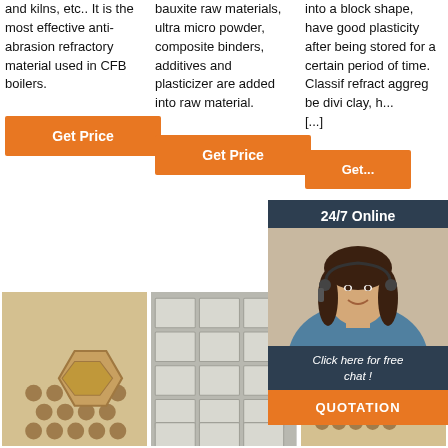and kilns, etc.. It is the most effective anti-abrasion refractory material used in CFB boilers.
Get Price
bauxite raw materials, ultra micro powder, composite binders, additives and plasticizer are added into raw material.
Get Price
into a block shape, have good plasticity after being stored for a certain period of time. Classified refractory aggregates can be divided into clay, h... [...]
Get P...
[Figure (screenshot): 24/7 Online chat widget with a woman customer service representative wearing a headset, and a QUOTATION button]
[Figure (photo): Honeycomb ceramic refractory bricks stacked]
[Figure (photo): White rectangular refractory bricks stacked in rows]
[Figure (photo): Honeycomb ceramic refractory bricks with TOP badge logo]